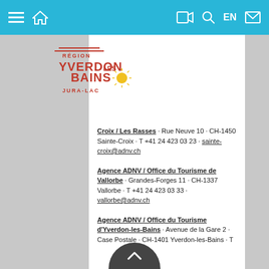Navigation bar with menu, home, video, search, EN, mail icons
[Figure (logo): Région Yverdon-les-Bains Jura-Lac logo with mountain/wave graphic]
Croix / Les Rasses · Rue Neuve 10 · CH-1450 Sainte-Croix · T +41 24 423 03 23 · sainte-croix@adnv.ch
Agence ADNV / Office du Tourisme de Vallorbe · Grandes-Forges 11 · CH-1337 Vallorbe · T +41 24 423 03 33 · vallorbe@adnv.ch
Agence ADNV / Office du Tourisme d'Yverdon-les-Bains · Avenue de la Gare 2 · Case Postale · CH-1401 Yverdon-les-Bains · T +41 24 423 03 13 · yverdon-les-bains@adnv.ch
Agence ADNV / Office du Tourisme d'Yvonand · Avenue du Temple 15 · CH-1462 Yvonand · T +41 24 423 03 63 · yvonand@adnv.ch